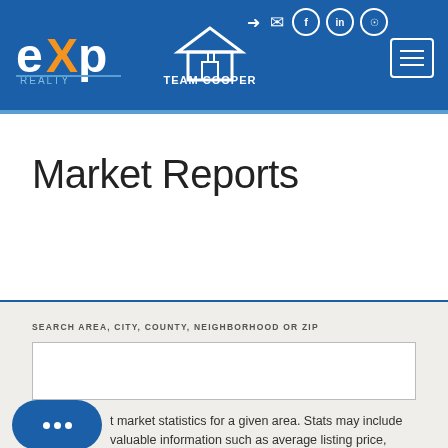eXp Realty – Team Cooper – navigation header with social icons and hamburger menu
Market Reports
SEARCH AREA, CITY, COUNTY, NEIGHBORHOOD OR ZIP
market statistics for a given area. Stats may include valuable information such as average listing price,